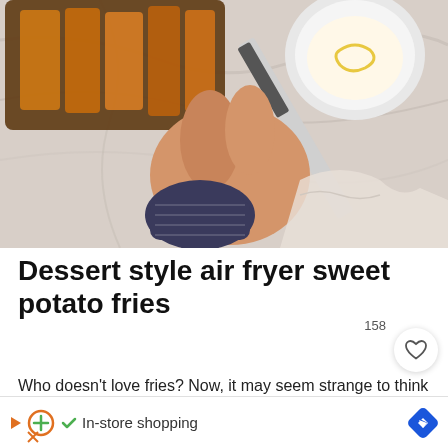[Figure (photo): Overhead photo of a hand holding a knife/spatula over a baking tray with sweet potato fries and a small bowl of dipping sauce on a marble surface]
Dessert style air fryer sweet potato fries
Who doesn't love fries? Now, it may seem strange to think of them as a dessert, but I need you to trust me on this one...
[Figure (screenshot): Ad bar at the bottom showing In-store shopping with icons]